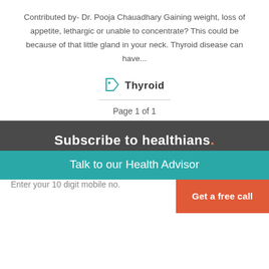Contributed by- Dr. Pooja Chauadhary Gaining weight, loss of appetite, lethargic or unable to concentrate? This could be because of that little gland in your neck. Thyroid disease can have...
Thyroid
Page 1 of 1
Subscribe to healthians.
Talk to our Health Advisor
Enter your 10 digit mobile no.
Get a free call